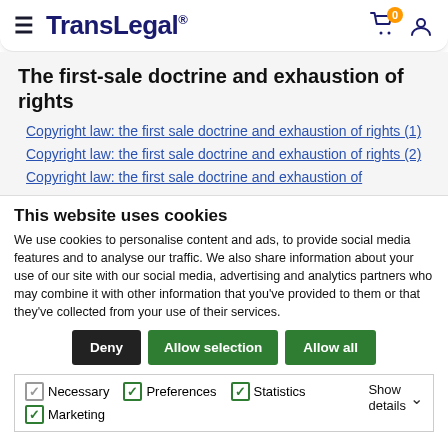TransLegal® — navigation bar with hamburger menu, cart (0 items), and user icon
The first-sale doctrine and exhaustion of rights
Copyright law: the first sale doctrine and exhaustion of rights (1)
Copyright law: the first sale doctrine and exhaustion of rights (2)
Copyright law: the first sale doctrine and exhaustion of rights
This website uses cookies
We use cookies to personalise content and ads, to provide social media features and to analyse our traffic. We also share information about your use of our site with our social media, advertising and analytics partners who may combine it with other information that you've provided to them or that they've collected from your use of their services.
Deny | Allow selection | Allow all
Necessary | Preferences | Statistics | Marketing | Show details